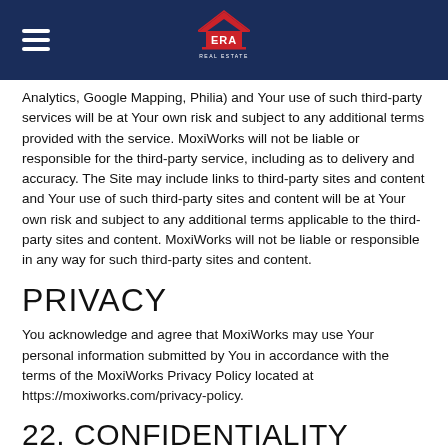ERA Real Estate
Analytics, Google Mapping, Philia) and Your use of such third-party services will be at Your own risk and subject to any additional terms provided with the service. MoxiWorks will not be liable or responsible for the third-party service, including as to delivery and accuracy. The Site may include links to third-party sites and content and Your use of such third-party sites and content will be at Your own risk and subject to any additional terms applicable to the third-party sites and content. MoxiWorks will not be liable or responsible in any way for such third-party sites and content.
PRIVACY
You acknowledge and agree that MoxiWorks may use Your personal information submitted by You in accordance with the terms of the MoxiWorks Privacy Policy located at https://moxiworks.com/privacy-policy.
22. CONFIDENTIALITY